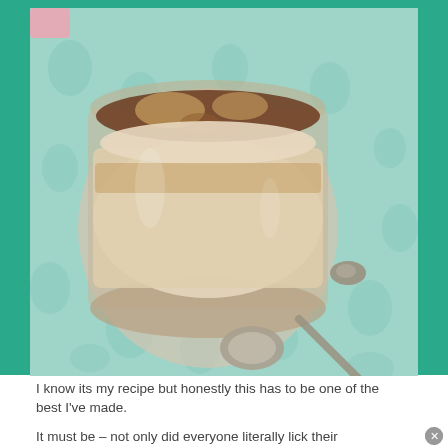[Figure (photo): A glass dessert cup containing a layered tiramisu-like dessert with cocoa powder dusted on top, on a teal/mint patterned cloth. A silver decorative spoon rests next to the glass.]
I know its my recipe but honestly this has to be one of the best I've made.
It must be – not only did everyone literally lick their